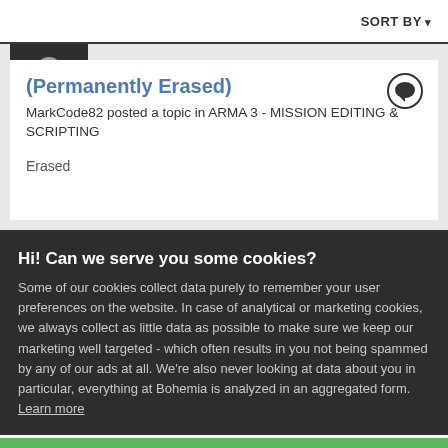SORT BY
[Figure (illustration): User avatar silhouette — dark background with white person icon]
(Permanently Erased)
MarkCode82 posted a topic in ARMA 3 - MISSION EDITING & SCRIPTING
Erased
Hi! Can we serve you some cookies?
Some of our cookies collect data purely to remember your user preferences on the website. In case of analytical or marketing cookies, we always collect as little data as possible to make sure we keep our marketing well targeted - which often results in you not being spammed by any of our ads at all. We're also never looking at data about you in particular, everything at Bohemia is analyzed in an aggregated form. Learn more